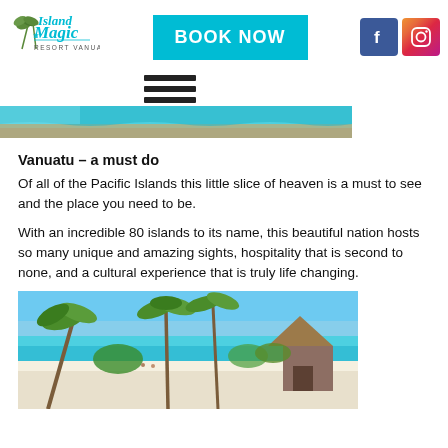[Figure (logo): Island Magic Resort Vanuatu logo with palm tree graphics]
[Figure (other): BOOK NOW button in teal/cyan color]
[Figure (other): Facebook and Instagram social media icons]
[Figure (other): Hamburger menu icon (three horizontal bars)]
[Figure (photo): Partial view of a resort pool area with sandy edges and turquoise water]
Vanuatu – a must do
Of all of the Pacific Islands this little slice of heaven is a must to see and the place you need to be.
With an incredible 80 islands to its name, this beautiful nation hosts so many unique and amazing sights, hospitality that is second to none, and a cultural experience that is truly life changing.
[Figure (photo): Tropical beach scene with palm trees, white sand, turquoise lagoon water, and a thatched hut structure]